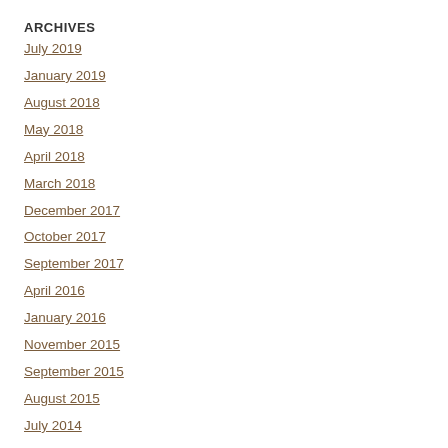ARCHIVES
July 2019
January 2019
August 2018
May 2018
April 2018
March 2018
December 2017
October 2017
September 2017
April 2016
January 2016
November 2015
September 2015
August 2015
July 2014
May 2014
March 2014